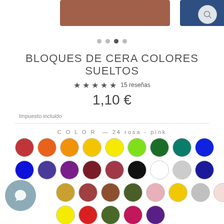[Figure (screenshot): E-commerce product page for wax color blocks. Shows brown and blue wax blocks at top, product title, star rating, price, and color swatches grid.]
BLOQUES DE CERA COLORES SUELTOS
★★★★★ 15 reseñas
1,10 €
Impuesto incluido
COLOR — 24 rosa - pink